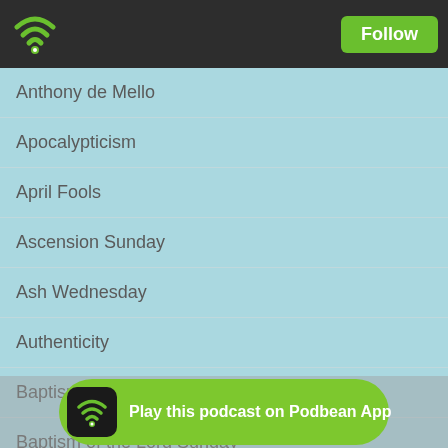[Figure (screenshot): Podbean app header bar with WiFi/podcast logo and Follow button]
Anthony de Mello
Apocalypticism
April Fools
Ascension Sunday
Ash Wednesday
Authenticity
Baptism
Baptism of the Lord Sunday
Baptismal Reaffirmation
Beliefs
Bible Series
Bishop Robert Schnase
Body of C...
[Figure (screenshot): Podbean App play banner at bottom: Play this podcast on Podbean App]